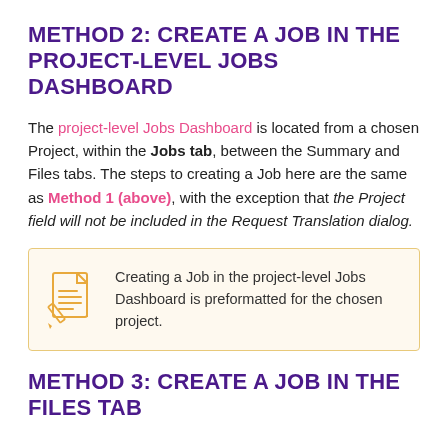METHOD 2: CREATE A JOB IN THE PROJECT-LEVEL JOBS DASHBOARD
The project-level Jobs Dashboard is located from a chosen Project, within the Jobs tab, between the Summary and Files tabs. The steps to creating a Job here are the same as Method 1 (above), with the exception that the Project field will not be included in the Request Translation dialog.
Creating a Job in the project-level Jobs Dashboard is preformatted for the chosen project.
METHOD 3: CREATE A JOB IN THE FILES TAB